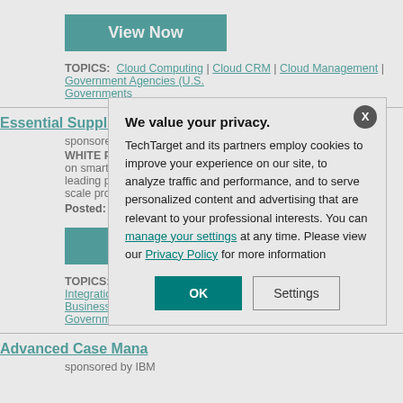[Figure (other): View Now button (teal/dark cyan background, white bold text)]
TOPICS: Cloud Computing | Cloud CRM | Cloud Management | Government Agencies (U.S.) Governments
Essential Supplier Report: Smart City Suppliers
sponsored by IBM
WHITE PAPER: This on smart cities and f leading players in th scale projects spann
Posted: 10 Nov 201
[Figure (other): View Now button (teal/dark cyan background, white bold text)]
TOPICS: Application De Integration Services | Ap Business Development Governments
Advanced Case Mana
sponsored by IBM
We value your privacy. TechTarget and its partners employ cookies to improve your experience on our site, to analyze traffic and performance, and to serve personalized content and advertising that are relevant to your professional interests. You can manage your settings at any time. Please view our Privacy Policy for more information